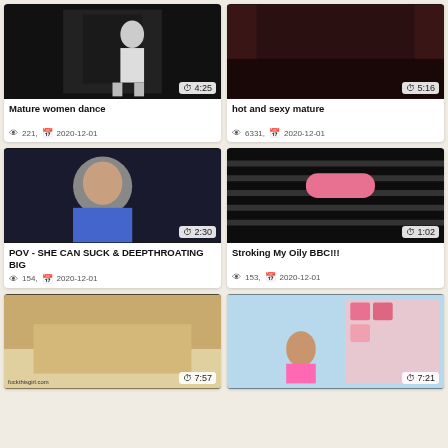[Figure (photo): Video thumbnail - Mature women dance, duration 4:25]
Mature women dance
👁 221, 📅 2020-12-01
[Figure (photo): Video thumbnail - hot and sexy mature, duration 5:16]
hot and sexy mature
👁 6331, 📅 2020-12-01
[Figure (photo): Video thumbnail - POV - SHE CAN SUCK & DEEPTHROATING BIG, duration 2:30]
POV - SHE CAN SUCK & DEEPTHROATING BIG
👁 154, 📅 2020-12-01
[Figure (photo): Video thumbnail - Stroking My Oily BBC!!!, duration 1:02]
Stroking My Oily BBC!!!
👁 153, 📅 2020-12-01
[Figure (photo): Video thumbnail - bottom left card, duration 7:57]
[Figure (photo): Video thumbnail - bottom right card, duration 7:21]